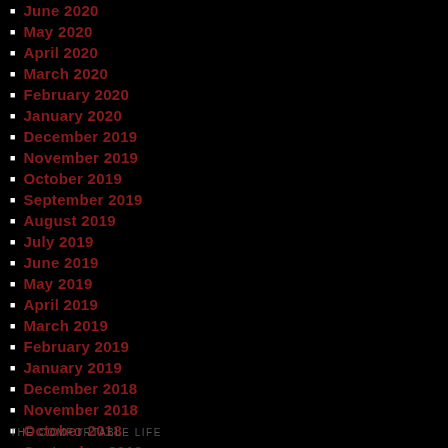June 2020
May 2020
April 2020
March 2020
February 2020
January 2020
December 2019
November 2019
October 2019
September 2019
August 2019
July 2019
June 2019
May 2019
April 2019
March 2019
February 2019
January 2019
December 2018
November 2018
October 2018
September 2018
THE COMFORTABLE LIFE